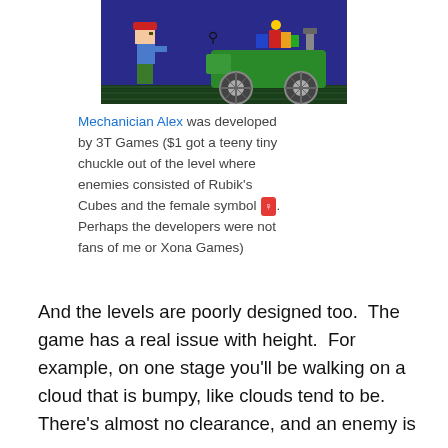[Figure (screenshot): Screenshot of Mechanician Alex game showing a pixelated character in a blue shirt and red cap facing a green vehicle/car on a grass ground with dark blue sky background.]
Mechanician Alex was developed by 3T Games ($1 got a teeny tiny chuckle out of the level where enemies consisted of Rubik's Cubes and the female symbol ♀. Perhaps the developers were not fans of me or Xona Games)
And the levels are poorly designed too.  The game has a real issue with height.  For example, on one stage you'll be walking on a cloud that is bumpy, like clouds tend to be.  There's almost no clearance, and an enemy is